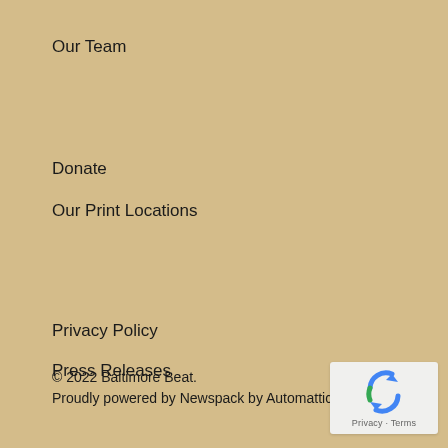Our Team
Donate
Our Print Locations
Privacy Policy
Press Releases
© 2022 Baltimore Beat.
Proudly powered by Newspack by Automattic
[Figure (other): Google reCAPTCHA badge with Privacy and Terms links]